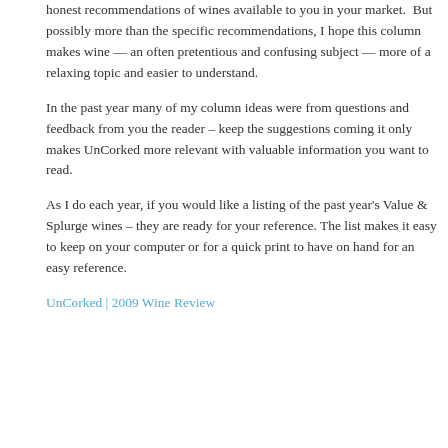honest recommendations of wines available to you in your market.  But possibly more than the specific recommendations, I hope this column makes wine — an often pretentious and confusing subject — more of a relaxing topic and easier to understand.
In the past year many of my column ideas were from questions and feedback from you the reader – keep the suggestions coming it only makes UnCorked more relevant with valuable information you want to read.
As I do each year, if you would like a listing of the past year's Value & Splurge wines – they are ready for your reference. The list makes it easy to keep on your computer or for a quick print to have on hand for an easy reference.
UnCorked | 2009 Wine Review